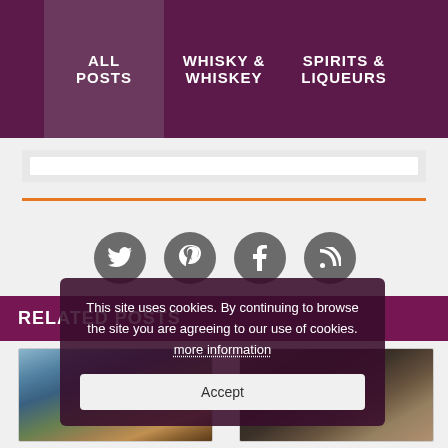ALL POSTS | WHISKY & WHISKEY | SPIRITS & LIQUEURS
[Figure (screenshot): Search bar input area]
[Figure (illustration): Orange horizontal divider line]
[Figure (infographic): Four social media icon circles: Twitter, Pinterest, Facebook, RSS]
RELATED POSTS
[Figure (photo): Whisky bottle and glass on rocky shore with ocean waves]
[Figure (photo): Dark whisky bottle and packaging box]
This site uses cookies. By continuing to browse the site you are agreeing to our use of cookies. more information
Accept